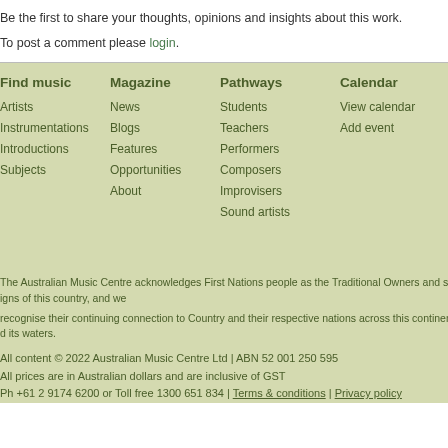Be the first to share your thoughts, opinions and insights about this work.
To post a comment please login.
Find music
Artists
Instrumentations
Introductions
Subjects
Magazine
News
Blogs
Features
Opportunities
About
Pathways
Students
Teachers
Performers
Composers
Improvisers
Sound artists
Calendar
View calendar
Add event
The Australian Music Centre acknowledges First Nations people as the Traditional Owners and sovereigns of this country, and we recognise their continuing connection to Country and their respective nations across this continent and its waters.
All content © 2022 Australian Music Centre Ltd | ABN 52 001 250 595
All prices are in Australian dollars and are inclusive of GST
Ph +61 2 9174 6200 or Toll free 1300 651 834 | Terms & conditions | Privacy policy